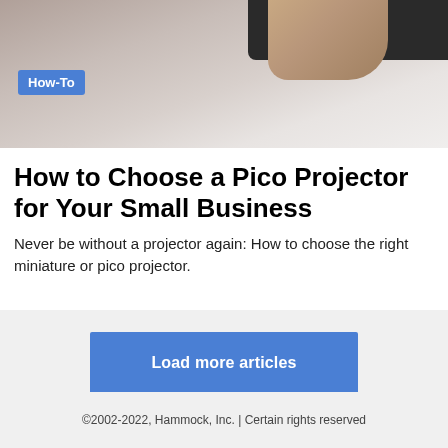[Figure (photo): Top portion showing a dark device (projector or similar) against a light/grey surface, with a hand partially visible. A blue 'How-To' badge overlaid on the photo.]
How to Choose a Pico Projector for Your Small Business
Never be without a projector again: How to choose the right miniature or pico projector.
Load more articles
©2002-2022, Hammock, Inc. | Certain rights reserved